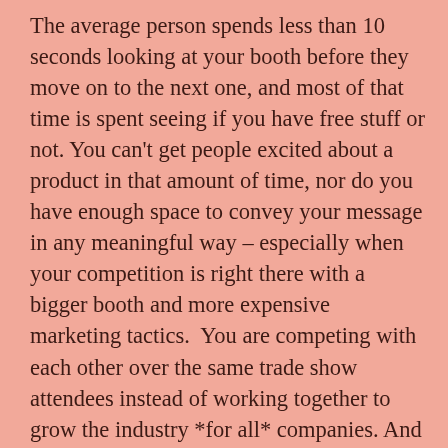The average person spends less than 10 seconds looking at your booth before they move on to the next one, and most of that time is spent seeing if you have free stuff or not. You can't get people excited about a product in that amount of time, nor do you have enough space to convey your message in any meaningful way – especially when your competition is right there with a bigger booth and more expensive marketing tactics.  You are competing with each other over the same trade show attendees instead of working together to grow the industry *for all* companies. And this is why I am against most major tradeshow events as they tend to focus on the revenues of just a few companies (the major trade show owners) while ignoring all of the small and medium-sized businesses who are paying higher fees to be there in the first place.